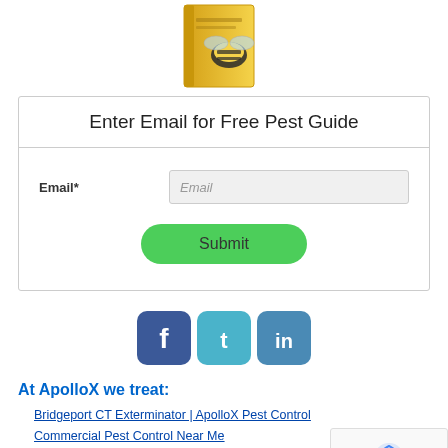[Figure (illustration): Yellow book/guide with black bee illustration on the cover, partially visible at top center of page]
Enter Email for Free Pest Guide
Email* [input field placeholder: Email]
Submit button
[Figure (illustration): Social media icons: Facebook (blue rounded square with f), Twitter (teal rounded square with bird), LinkedIn (teal/blue rounded square with in)]
At ApolloX we treat:
Bridgeport CT Exterminator | ApolloX Pest Control
Commercial Pest Control Near Me
Cos Cob CT Pest Control & Exterminator | ApolloX Pest Control
Darien CT Pest Control & Exterminator | ApolloX